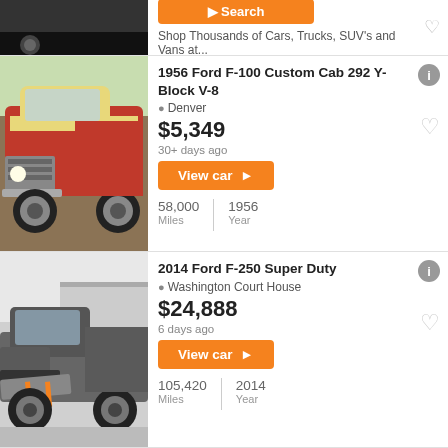[Figure (photo): Partial view of a car listing image at top, cropped]
Shop Thousands of Cars, Trucks, SUV's and Vans at...
[Figure (photo): 1956 Ford F-100 Custom Cab, red and yellow classic truck]
1956 Ford F-100 Custom Cab 292 Y-Block V-8
Denver
$5,349
30+ days ago
View car >
58,000 Miles | 1956 Year
[Figure (photo): 2014 Ford F-250 Super Duty, gray/black truck with plow attachment]
2014 Ford F-250 Super Duty
Washington Court House
$24,888
6 days ago
View car >
105,420 Miles | 2014 Year
[Figure (photo): Partial view of OffLeaseOnly logo, purple background]
2018 Ford F-150 XL 4x2 XL 4dr SuperCrew 5.5 ft...